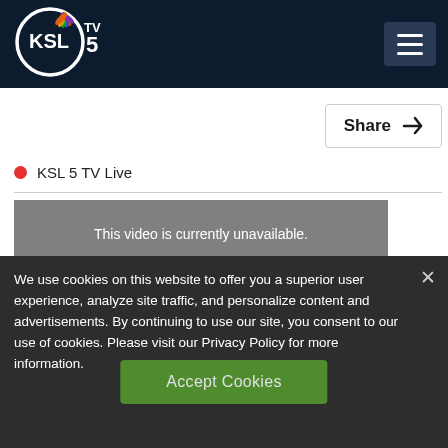[Figure (logo): KSL TV 5 NBC logo — circular KSL badge with NBC peacock feather icon and TV 5 text]
[Figure (screenshot): Hamburger menu icon button (three horizontal bars) on dark navy background]
[Figure (screenshot): Share button with share icon]
KSL 5 TV Live
[Figure (screenshot): Gray video player box with message: This video is currently unavailable.]
We use cookies on this website to offer you a superior user experience, analyze site traffic, and personalize content and advertisements. By continuing to use our site, you consent to our use of cookies. Please visit our Privacy Policy for more information.
[Figure (screenshot): Accept Cookies green button]